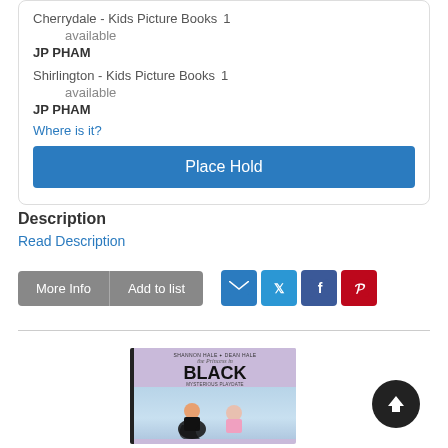Cherrydale - Kids Picture Books  1 available
JP PHAM
Shirlington - Kids Picture Books  1 available
JP PHAM
Where is it?
Place Hold
Description
Read Description
More Info
Add to list
[Figure (screenshot): Book cover: The Princess in Black and the Mysterious Playdate by Shannon Hale & Dean Hale, purple illustrated cover]
[Figure (illustration): Scroll-to-top button: dark circle with upward arrow]